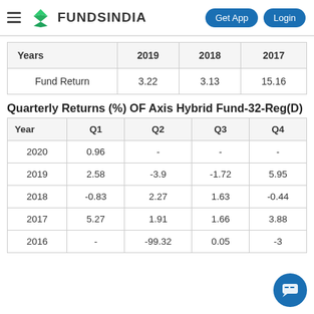FundsIndia — Get App | Login
| Years | 2019 | 2018 | 2017 |
| --- | --- | --- | --- |
| Fund Return | 3.22 | 3.13 | 15.16 |
Quarterly Returns (%) OF Axis Hybrid Fund-32-Reg(D)
| Year | Q1 | Q2 | Q3 | Q4 |
| --- | --- | --- | --- | --- |
| 2020 | 0.96 | - | - | - |
| 2019 | 2.58 | -3.9 | -1.72 | 5.95 |
| 2018 | -0.83 | 2.27 | 1.63 | -0.44 |
| 2017 | 5.27 | 1.91 | 1.66 | 3.88 |
| 2016 | - | -99.32 | 0.05 | -3 |